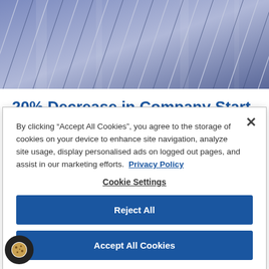[Figure (photo): Aerial or upward-looking photo of modern glass and steel building facades in blue and grey tones]
20% Decrease in Company Start-ups amid Growing Cost of Living
By clicking “Accept All Cookies”, you agree to the storage of cookies on your device to enhance site navigation, analyze site usage, display personalised ads on logged out pages, and assist in our marketing efforts.  Privacy Policy
Cookie Settings
Reject All
Accept All Cookies